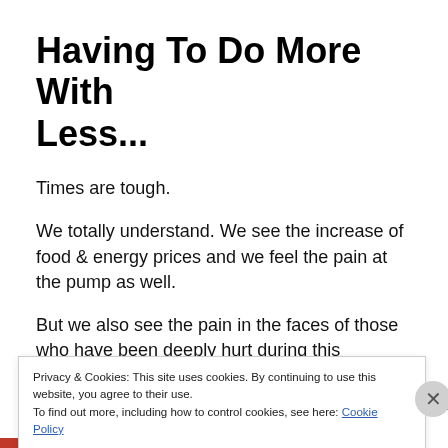Having To Do More With Less...
Times are tough.
We totally understand. We see the increase of food & energy prices and we feel the pain at the pump as well.
But we also see the pain in the faces of those who have been deeply hurt during this economic downturn. The number of women and families in need is definitely greater
Privacy & Cookies: This site uses cookies. By continuing to use this website, you agree to their use.
To find out more, including how to control cookies, see here: Cookie Policy
Close and accept